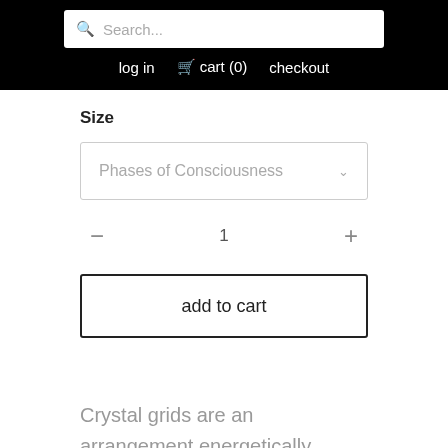Search... | log in  cart (0)  checkout
Size
Phases of Consciousness
— 1 +
add to cart
Crystal grids are an arrangement energetically aligned